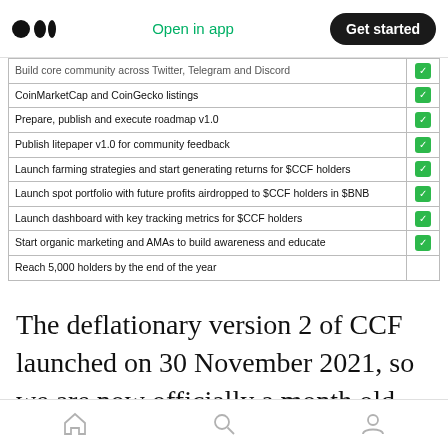Medium logo | Open in app | Get started
| Milestone | Done |
| --- | --- |
| Build core community across Twitter, Telegram and Discord | ✓ |
| CoinMarketCap and CoinGecko listings | ✓ |
| Prepare, publish and execute roadmap v1.0 | ✓ |
| Publish litepaper v1.0 for community feedback | ✓ |
| Launch farming strategies and start generating returns for $CCF holders | ✓ |
| Launch spot portfolio with future profits airdropped to $CCF holders in $BNB | ✓ |
| Launch dashboard with key tracking metrics for $CCF holders | ✓ |
| Start organic marketing and AMAs to build awareness and educate | ✓ |
| Reach 5,000 holders by the end of the year |  |
The deflationary version 2 of CCF launched on 30 November 2021, so we are now officially a month old. How time flies when you're having fun! As you can see we're crushing our milestones and have set ourselves up well for a
Home | Search | Profile